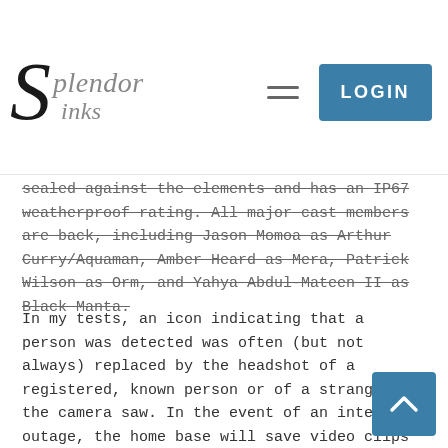Splendor Inks — LOGIN
sealed against the elements and has an IP67 weatherproof rating. All major cast members are back, including Jason Momoa as Arthur Curry/Aquaman, Amber Heard as Mera, Patrick Wilson as Orm, and Yahya Abdul-Mateen II as Black Manta.
In my tests, an icon indicating that a person was detected was often (but not always) replaced by the headshot of a registered, known person or of a stranger the camera saw. In the event of an internet outage, the home base will save video clips on its microSD card for up to 48 hours. However, Anker did a good job implementing local